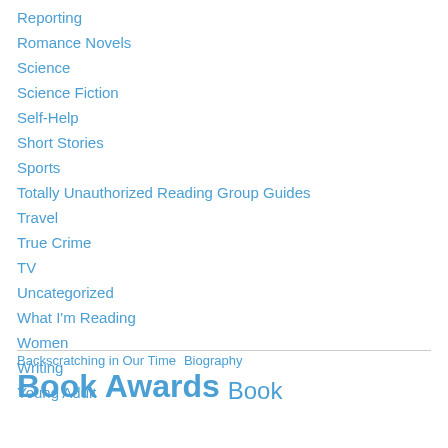Reporting
Romance Novels
Science
Science Fiction
Self-Help
Short Stories
Sports
Totally Unauthorized Reading Group Guides
Travel
True Crime
TV
Uncategorized
What I'm Reading
Women
Writing
Young Adult
Backscratching in Our Time   Biography   Book Awards   Book